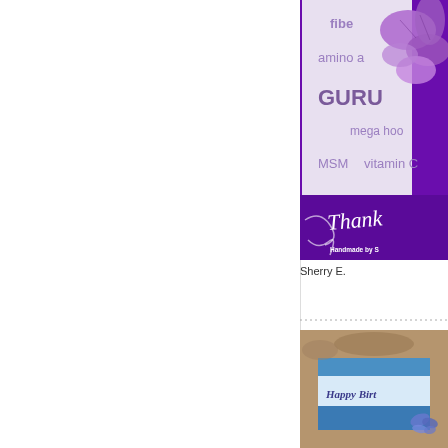[Figure (photo): Handmade card with purple background and orchid flowers. Text on card reads: fiber, amino a, GURU, mega hoo, MSM, vitamin C. Cursive script says 'Thank' and bottom reads 'Handmade by S...']
Sherry E.
[Figure (photo): Handmade birthday card with blue and white layered card on brown/tan background. Text reads 'Happy Birt...' with a butterfly decoration.]